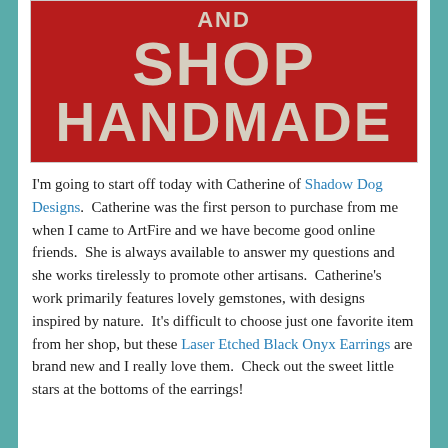[Figure (illustration): Red banner image with large bold text reading 'AND SHOP HANDMADE' in a beige/cream color on a dark red background.]
I'm going to start off today with Catherine of Shadow Dog Designs.  Catherine was the first person to purchase from me when I came to ArtFire and we have become good online friends.  She is always available to answer my questions and she works tirelessly to promote other artisans.  Catherine's work primarily features lovely gemstones, with designs inspired by nature.  It's difficult to choose just one favorite item from her shop, but these Laser Etched Black Onyx Earrings are brand new and I really love them.  Check out the sweet little stars at the bottoms of the earrings!